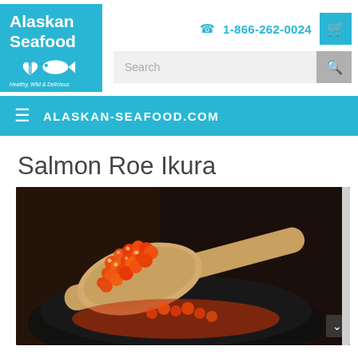[Figure (logo): Alaskan Seafood logo: blue square with white text 'Alaskan Seafood', fish/heart icon, tagline 'Healthy, Wild & Delicious']
1-866-262-0024
[Figure (screenshot): Search bar with placeholder 'Search' and search button]
ALASKAN-SEAFOOD.COM
Salmon Roe Ikura
[Figure (photo): Photo of bright orange salmon roe (ikura) piled on a wooden spoon over a dark bowl, dark background]